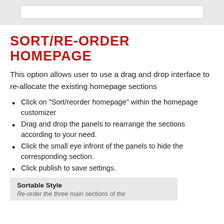[Figure (screenshot): Top navigation bar with a search input box on a light gray background]
SORT/RE-ORDER HOMEPAGE
This option allows user to use a drag and drop interface to re-allocate the existing homepage sections
Click on “Sort/reorder homepage” within the homepage customizer
Drag and drop the panels to rearrange the sections according to your need.
Click the small eye infront of the panels to hide the corresponding section.
Click publish to save settings.
Sortable Style
Re-order the three main sections of the